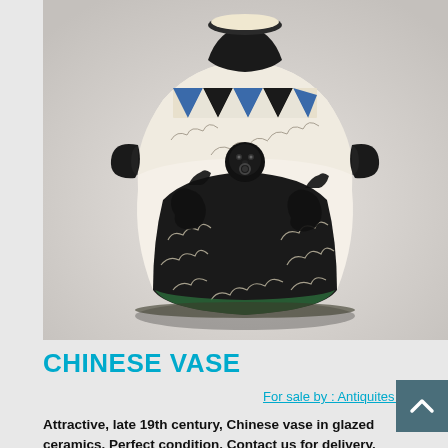[Figure (photo): A Chinese glazed ceramic vase from the late 19th century. The vase is large and bulbous with two small handles near the neck. It features black and white glazed relief decoration with swirling cloud motifs and animal figures (likely horses or dragons). The neck area has a geometric triangular pattern in blue, black, and white. The base has a green decorative band. The vase is photographed against a light grey/white background.]
CHINESE VASE
For sale by : Antiquites Lecomte
Attractive, late 19th century, Chinese vase in glazed ceramics. Perfect condition. Contact us for delivery.